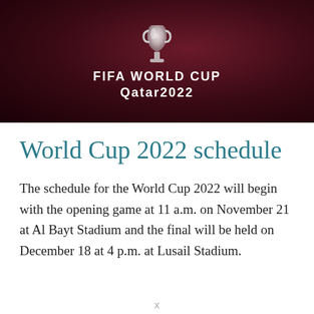[Figure (photo): FIFA World Cup Qatar 2022 banner with dark red/maroon background, trophy silhouette at top, and white text reading FIFA WORLD CUP Qatar2022]
World Cup 2022 schedule
The schedule for the World Cup 2022 will begin with the opening game at 11 a.m. on November 21 at Al Bayt Stadium and the final will be held on December 18 at 4 p.m. at Lusail Stadium.
X